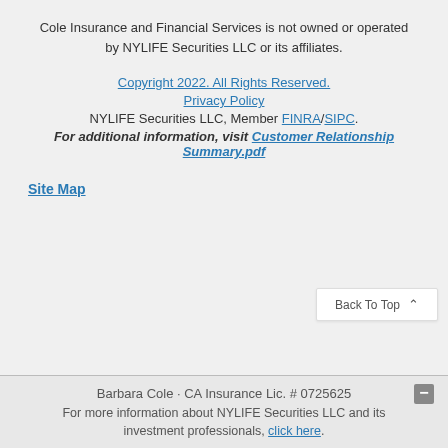Cole Insurance and Financial Services is not owned or operated by NYLIFE Securities LLC or its affiliates.
Copyright 2022. All Rights Reserved.
Privacy Policy
NYLIFE Securities LLC, Member FINRA/SIPC.
For additional information, visit Customer Relationship Summary.pdf
Site Map
Back To Top
Barbara Cole · CA Insurance Lic. # 0725625
For more information about NYLIFE Securities LLC and its investment professionals, click here.